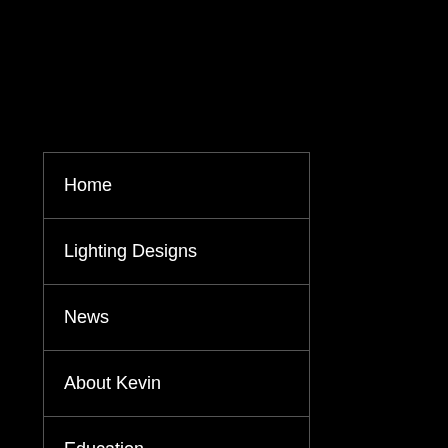Home
Lighting Designs
News
About Kevin
Education
Awards
Contact Kevin